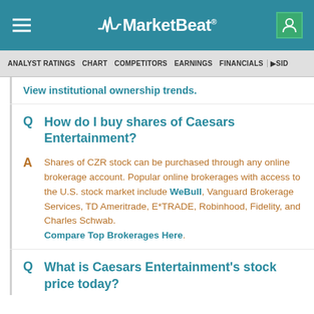MarketBeat
ANALYST RATINGS | CHART | COMPETITORS | EARNINGS | FINANCIALS | >SID
View institutional ownership trends.
How do I buy shares of Caesars Entertainment?
Shares of CZR stock can be purchased through any online brokerage account. Popular online brokerages with access to the U.S. stock market include WeBull, Vanguard Brokerage Services, TD Ameritrade, E*TRADE, Robinhood, Fidelity, and Charles Schwab. Compare Top Brokerages Here.
What is Caesars Entertainment's stock price today?